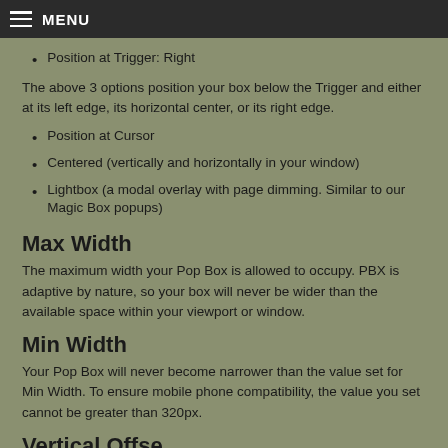MENU
Position at Trigger: Right
The above 3 options position your box below the Trigger and either at its left edge, its horizontal center, or its right edge.
Position at Cursor
Centered (vertically and horizontally in your window)
Lightbox (a modal overlay with page dimming. Similar to our Magic Box popups)
Max Width
The maximum width your Pop Box is allowed to occupy. PBX is adaptive by nature, so your box will never be wider than the available space within your viewport or window.
Min Width
Your Pop Box will never become narrower than the value set for Min Width. To ensure mobile phone compatibility, the value you set cannot be greater than 320px.
Vertical Offset